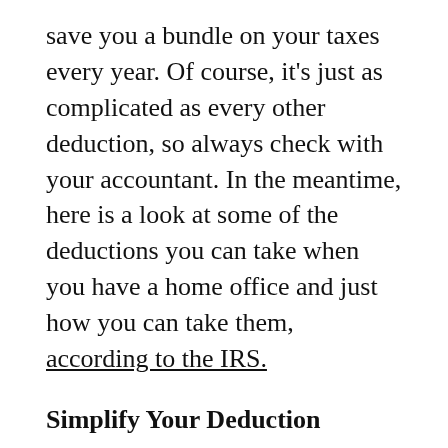save you a bundle on your taxes every year. Of course, it's just as complicated as every other deduction, so always check with your accountant. In the meantime, here is a look at some of the deductions you can take when you have a home office and just how you can take them, according to the IRS.
Simplify Your Deduction
Any year prior to 2013, the method for calculating the home office deduction was very complicated. However, in 2013 (for taxes filed in 2014 or this year) the IRS has offered a simplified home office deduction. Instead of calculating every little deduction that is related to your home office, this